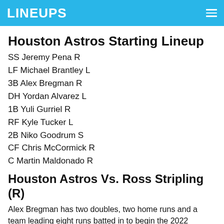LINEUPS
Houston Astros Starting Lineup
SS Jeremy Pena R
LF Michael Brantley L
3B Alex Bregman R
DH Yordan Alvarez L
1B Yuli Gurriel R
RF Kyle Tucker L
2B Niko Goodrum S
CF Chris McCormick R
C Martin Maldonado R
Houston Astros Vs. Ross Stripling (R)
Alex Bregman has two doubles, two home runs and a team leading eight runs batted in to begin the 2022 season.  He has 18 total bases with a .439 slugging percentage and an OPS of .772.  Bregman is a career .280 hitter with 119 home runs and